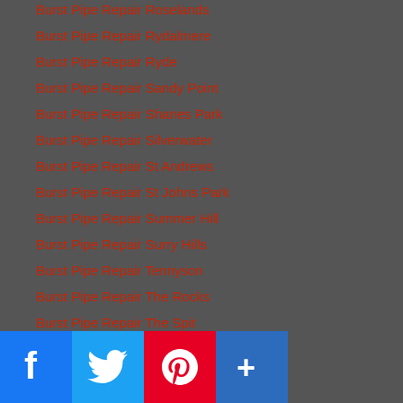Burst Pipe Repair Roselands
Burst Pipe Repair Rydalmere
Burst Pipe Repair Ryde
Burst Pipe Repair Sandy Point
Burst Pipe Repair Shanes Park
Burst Pipe Repair Silverwater
Burst Pipe Repair St Andrews
Burst Pipe Repair St Johns Park
Burst Pipe Repair Summer Hill
Burst Pipe Repair Surry Hills
Burst Pipe Repair Tennyson
Burst Pipe Repair The Rocks
Burst Pipe Repair The Spit
Burst Pipe Repair Varroville
Burst Pipe Repair Vineyard
Burst Pipe Repair Warwick Farm
Burst Pipe Repair Wattle Grove
Burst Pipe Repair Wentworthville
Burst Pipe Repair Wetherington
Burst Pipe Repair Winston